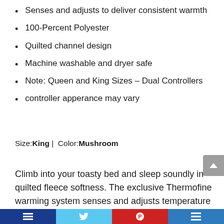Senses and adjusts to deliver consistent warmth
100-Percent Polyester
Quilted channel design
Machine washable and dryer safe
Note: Queen and King Sizes – Dual Controllers
controller apperance may vary
Size:King |  Color:Mushroom
Climb into your toasty bed and sleep soundly in quilted fleece softness. The exclusive Thermofine warming system senses and adjusts temperature to deliver.